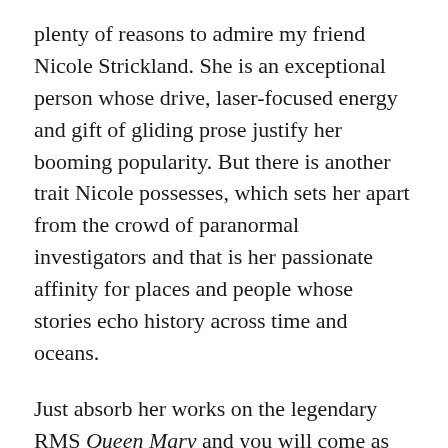plenty of reasons to admire my friend Nicole Strickland. She is an exceptional person whose drive, laser-focused energy and gift of gliding prose justify her booming popularity. But there is another trait Nicole possesses, which sets her apart from the crowd of paranormal investigators and that is her passionate affinity for places and people whose stories echo history across time and oceans.
Just absorb her works on the legendary RMS Queen Mary and you will come as close to time travel as you are likely to experience. The Haunted Queen of the Seas; The Spirited Queen Mary: Her Haunted Legend and RMS Queen Mary: Voices From Her Voyages all create a smartly readable look at seafaring opulence during peacetime and an urgent re-purposing of a world-class luxury ship during the Second World War.